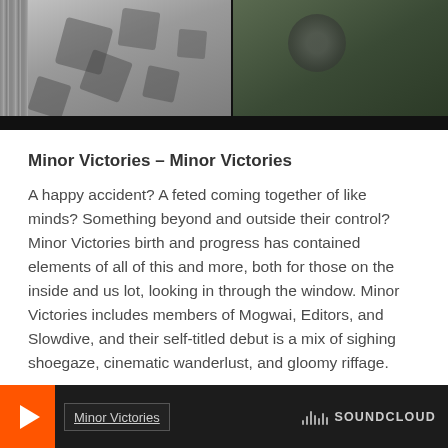[Figure (photo): Photo of two vinyl record album covers side by side in a record store. Left cover is gray with dark geometric cube shapes. Right cover is dark green/olive with a circular emblem.]
Minor Victories – Minor Victories
A happy accident? A feted coming together of like minds? Something beyond and outside their control? Minor Victories birth and progress has contained elements of all of this and more, both for those on the inside and us lot, looking in through the window. Minor Victories includes members of Mogwai, Editors, and Slowdive, and their self-titled debut is a mix of sighing shoegaze, cinematic wanderlust, and gloomy riffage.
[Figure (screenshot): SoundCloud player widget with orange play button on left, track title 'Minor Victories' in center, and SoundCloud logo on right, dark background.]